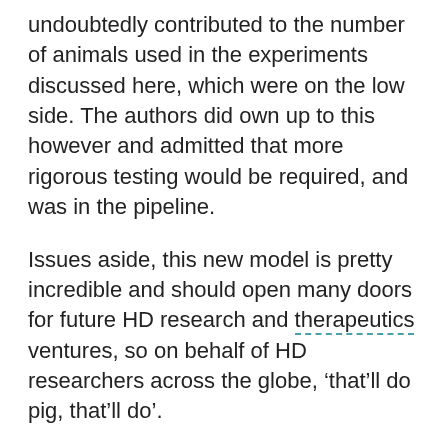undoubtedly contributed to the number of animals used in the experiments discussed here, which were on the low side. The authors did own up to this however and admitted that more rigorous testing would be required, and was in the pipeline.
Issues aside, this new model is pretty incredible and should open many doors for future HD research and therapeutics ventures, so on behalf of HD researchers across the globe, ‘that’ll do pig, that’ll do’.
The authors have no conflicts of interest to declare. For more information about our disclosure policy see our FAQ...